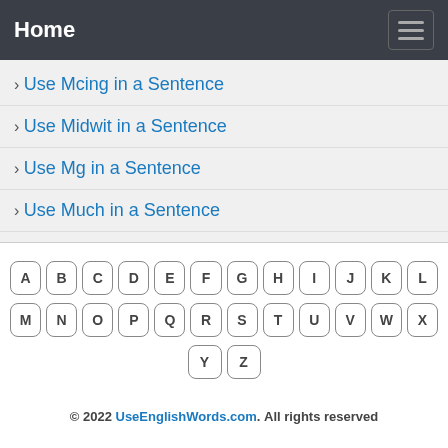Home
Use Mcing in a Sentence
Use Midwit in a Sentence
Use Mg in a Sentence
Use Much in a Sentence
[Figure (other): Alphabet keyboard with letter buttons A-Z arranged in three rows]
© 2022 UseEnglishWords.com. All rights reserved